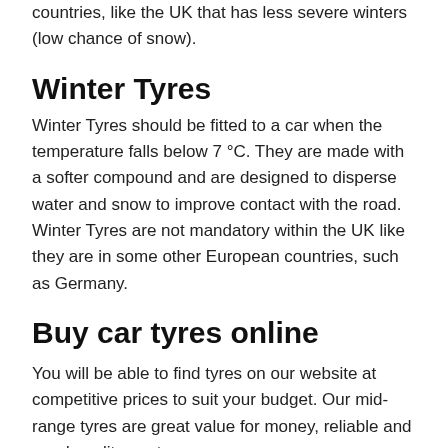countries, like the UK that has less severe winters (low chance of snow).
Winter Tyres
Winter Tyres should be fitted to a car when the temperature falls below 7 °C. They are made with a softer compound and are designed to disperse water and snow to improve contact with the road. Winter Tyres are not mandatory within the UK like they are in some other European countries, such as Germany.
Buy car tyres online
You will be able to find tyres on our website at competitive prices to suit your budget. Our mid-range tyres are great value for money, reliable and good quality car tyres.
You can buy your tyres online using our website. You can search by your car registration number or your tyre size to find tyres to fit your vehicle and with 3 short simple steps, you can